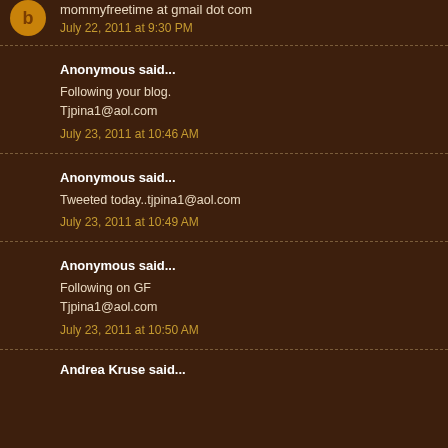mommyfreetime at gmail dot com
July 22, 2011 at 9:30 PM
Anonymous said...
Following your blog.
Tjpina1@aol.com
July 23, 2011 at 10:46 AM
Anonymous said...
Tweeted today..tjpina1@aol.com
July 23, 2011 at 10:49 AM
Anonymous said...
Following on GF
Tjpina1@aol.com
July 23, 2011 at 10:50 AM
Andrea Kruse said...